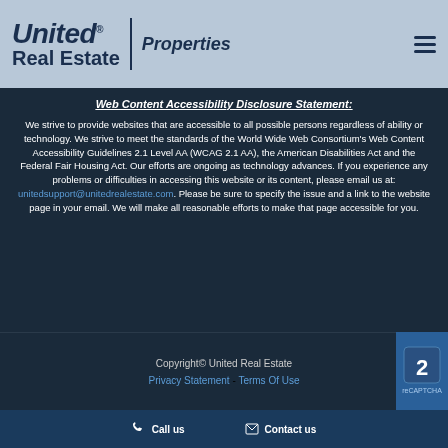[Figure (logo): United Real Estate Properties logo with navy text and horizontal rule, plus hamburger menu icon]
Web Content Accessibility Disclosure Statement:
We strive to provide websites that are accessible to all possible persons regardless of ability or technology. We strive to meet the standards of the World Wide Web Consortium's Web Content Accessibility Guidelines 2.1 Level AA (WCAG 2.1 AA), the American Disabilities Act and the Federal Fair Housing Act. Our efforts are ongoing as technology advances. If you experience any problems or difficulties in accessing this website or its content, please email us at: unitedsupport@unitedrealestate.com. Please be sure to specify the issue and a link to the website page in your email. We will make all reasonable efforts to make that page accessible for you.
Copyright© United Real Estate
Privacy Statement - Terms Of Use
Call us   Contact us